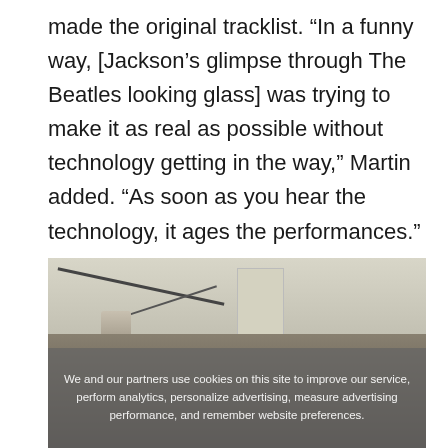made the original tracklist. “In a funny way, [Jackson’s glimpse through The Beatles looking glass] was trying to make it as real as possible without technology getting in the way,” Martin added. “As soon as you hear the technology, it ages the performances.”
[Figure (photo): Black and white or muted color photo of a recording studio session. Several people are gathered in what appears to be a large studio room with high ceilings, microphone boom arms visible overhead, and acoustic panels. A person in a white shirt is standing and others are seated or gathered. A cookie consent overlay text is visible at the bottom of the image.]